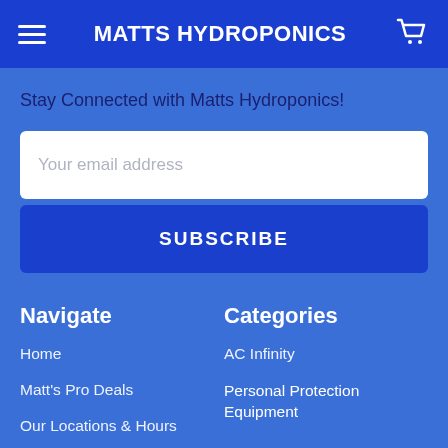MATTS HYDROPONICS
Stay Connected with Matts Hydroponics!
[Figure (other): Email address input field with placeholder text 'Your email address']
[Figure (other): Subscribe button with text 'SUBSCRIBE']
Navigate
Home
Matt's Pro Deals
Our Locations & Hours
Categories
AC Infinity
Personal Protection Equipment